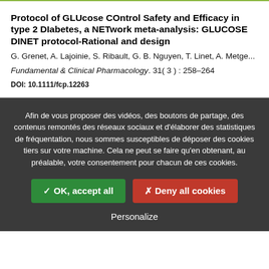Protocol of GLUcose COntrol Safety and Efficacy in type 2 DIabetes, a NETwork meta-analysis: GLUCOSE DINET protocol-Rational and design
G. Grenet, A. Lajoinie, S. Ribault, G. B. Nguyen, T. Linet, A. Metge...
Fundamental & Clinical Pharmacology. 31(3): 258-264
DOI: 10.1111/fcp.12263
Afin de vous proposer des vidéos, des boutons de partage, des contenus remontés des réseaux sociaux et d'élaborer des statistiques de fréquentation, nous sommes susceptibles de déposer des cookies tiers sur votre machine. Cela ne peut se faire qu'en obtenant, au préalable, votre consentement pour chacun de ces cookies.
✓ OK, accept all
✗ Deny all cookies
Personalize